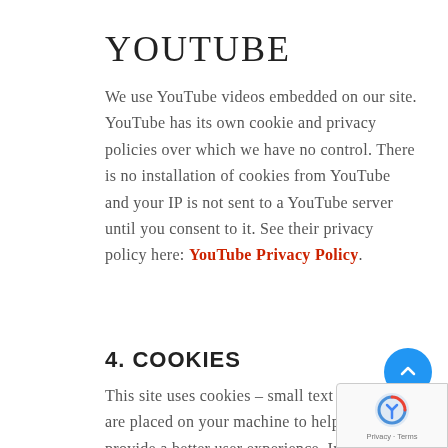YOUTUBE
We use YouTube videos embedded on our site. YouTube has its own cookie and privacy policies over which we have no control. There is no installation of cookies from YouTube and your IP is not sent to a YouTube server until you consent to it. See their privacy policy here: YouTube Privacy Policy.
4. COOKIES
This site uses cookies – small text files that are placed on your machine to help the site provide a better user experience. In general, cookies are